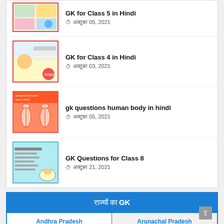GK for Class 4 in Hindi — अक्टूबर 03, 2021
gk questions human body in hindi — अक्टूबर 05, 2021
GK Questions for Class 8 — अक्टूबर 21, 2021
| राज्यों का GK |
| --- |
| Andhra Pradesh | Arunachal Pradesh |
राज्यों का GK